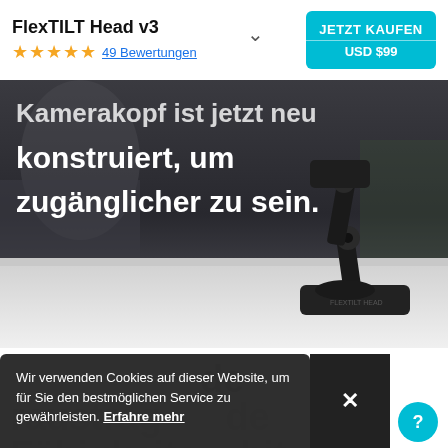FlexTILT Head v3 — JETZT KAUFEN USD $99 — 49 Bewertungen
[Figure (photo): FlexTILT Head v3 camera mount/tripod head product on a desk surface, dark background, with bold white German text overlay: 'Kamerakopf ist jetzt neu konstruiert, um zugänglicher zu sein.']
Wir verwenden Cookies auf dieser Website, um für Sie den bestmöglichen Service zu gewährleisten. Erfahre mehr